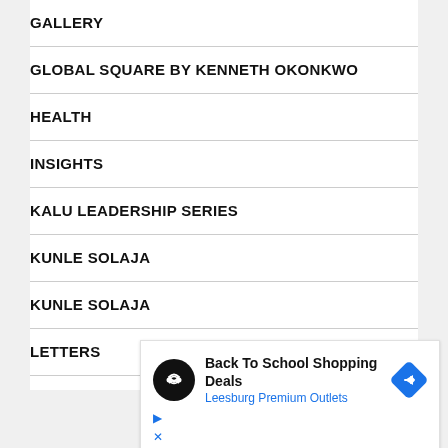GALLERY
GLOBAL SQUARE BY KENNETH OKONKWO
HEALTH
INSIGHTS
KALU LEADERSHIP SERIES
KUNLE SOLAJA
KUNLE SOLAJA
LETTERS
LIFELINE
LIFESTYLE
[Figure (screenshot): Advertisement banner: Back To School Shopping Deals at Leesburg Premium Outlets, with circular logo icon and blue diamond arrow icon]